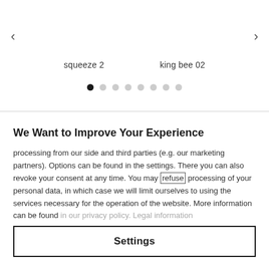[Figure (screenshot): Product carousel navigation with left and right arrows, showing product labels 'squeeze 2' and 'king bee 02', with 8 pagination dots (first dot active/filled, rest empty)]
We Want to Improve Your Experience
processing from our side and third parties (e.g. our marketing partners). Options can be found in the settings. There you can also revoke your consent at any time. You may refuse processing of your personal data, in which case we will limit ourselves to using the services necessary for the operation of the website. More information can be found in our privacy policy. Legal information
Settings